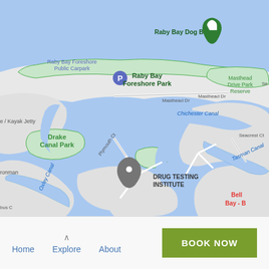[Figure (map): Google Maps screenshot showing Raby Bay area in Queensland, Australia. Visible landmarks include: Raby Bay Dog Beach (with green tree pin marker), Raby Bay Foreshore Public Carpark (with blue P parking marker), Raby Bay Foreshore Park, Masthead Drive Park Reserve, Drake Canal Park, Drug Testing Institute (with grey location pin). Waterways visible include Chichester Canal, Tasman Canal, Oxley Canal. Streets visible include Masthead Dr, Plymouth Ct, Seacrest Ct. Partial text visible: Kayak Jetty, Ironman, Bell Bay - B (cut off). Green park areas and blue water channels are shown on light grey road background.]
Home   Explore   About
BOOK NOW